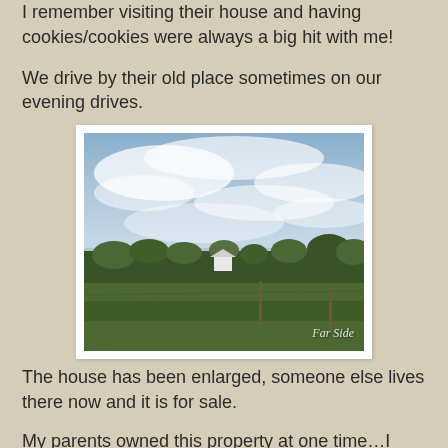I remember visiting their house and having cookies/cookies were always a big hit with me!
We drive by their old place sometimes on our evening drives.
[Figure (photo): Landscape photograph of a green farm field with a treeline in the background and a partly cloudy sky. A white farmhouse is visible among the trees. A fence post is visible in the foreground right. Watermark reads 'Far Side'.]
The house has been enlarged, someone else lives there now and it is for sale.
My parents owned this property at one time…I think they bought it from the Estate after Bills' death in 1969.  They farmed the land for a number of years.
Bill and Gertie were good neighbors, no one ever spoke